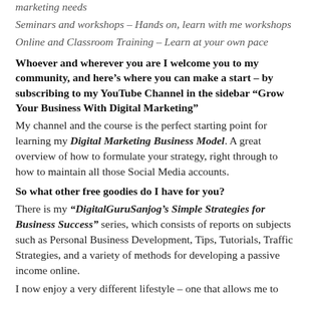marketing needs
Seminars and workshops – Hands on, learn with me workshops
Online and Classroom Training – Learn at your own pace
Whoever and wherever you are I welcome you to my community, and here's where you can make a start – by subscribing to my YouTube Channel in the sidebar "Grow Your Business With Digital Marketing"
My channel and the course is the perfect starting point for learning my Digital Marketing Business Model. A great overview of how to formulate your strategy, right through to how to maintain all those Social Media accounts.
So what other free goodies do I have for you?
There is my "DigitalGuruSanjog's Simple Strategies for Business Success" series, which consists of reports on subjects such as Personal Business Development, Tips, Tutorials, Traffic Strategies, and a variety of methods for developing a passive income online.
I now enjoy a very different lifestyle – one that allows me to